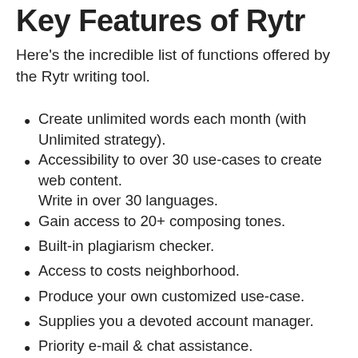Key Features of Rytr
Here’s the incredible list of functions offered by the Rytr writing tool.
Create unlimited words each month (with Unlimited strategy).
Accessibility to over 30 use-cases to create web content.
Write in over 30 languages.
Gain access to 20+ composing tones.
Built-in plagiarism checker.
Access to costs neighborhood.
Produce your own customized use-case.
Supplies you a devoted account manager.
Priority e-mail & chat assistance.